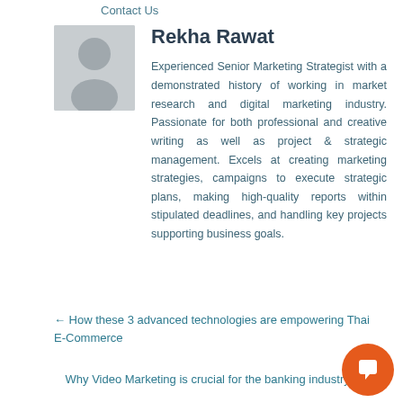Contact Us
Rekha Rawat
Experienced Senior Marketing Strategist with a demonstrated history of working in market research and digital marketing industry. Passionate for both professional and creative writing as well as project & strategic management. Excels at creating marketing strategies, campaigns to execute strategic plans, making high-quality reports within stipulated deadlines, and handling key projects supporting business goals.
← How these 3 advanced technologies are empowering Thai E-Commerce
Why Video Marketing is crucial for the banking industry?